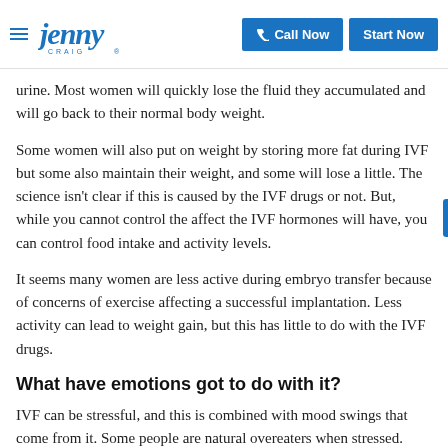Jenny Craig — Call Now | Start Now
urine. Most women will quickly lose the fluid they accumulated and will go back to their normal body weight.
Some women will also put on weight by storing more fat during IVF but some also maintain their weight, and some will lose a little. The science isn't clear if this is caused by the IVF drugs or not. But, while you cannot control the affect the IVF hormones will have, you can control food intake and activity levels.
It seems many women are less active during embryo transfer because of concerns of exercise affecting a successful implantation. Less activity can lead to weight gain, but this has little to do with the IVF drugs.
What have emotions got to do with it?
IVF can be stressful, and this is combined with mood swings that come from it. Some people are natural overeaters when stressed. Other people eat less when stressed.